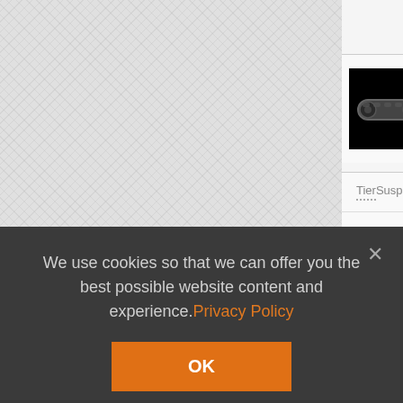[Figure (screenshot): Game wiki screenshot showing a textured grey background on the left panel]
Suspensions
| Tier | Suspension |
| --- | --- |
| III | Type 1 Chi-He |
| IV | Type 2 Ho-I |
We use cookies so that we can offer you the best possible website content and experience. Privacy Policy
[Figure (other): OK button - orange cookie consent button]